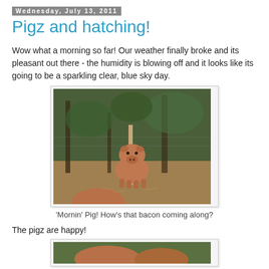Wednesday, July 13, 2011
Pigz and hatching!
Wow what a morning so far! Our weather finally broke and its pleasant out there - the humidity is blowing off and it looks like its going to be a sparkling clear, blue sky day.
[Figure (photo): A pig standing in a dirt and hay enclosure with wire fencing and trees in the background. Another pig is partially visible at the bottom of the frame.]
'Mornin' Pig! How's that bacon coming along?
The pigz are happy!
[Figure (photo): Bottom portion of another pig photo, partially cut off at page bottom.]